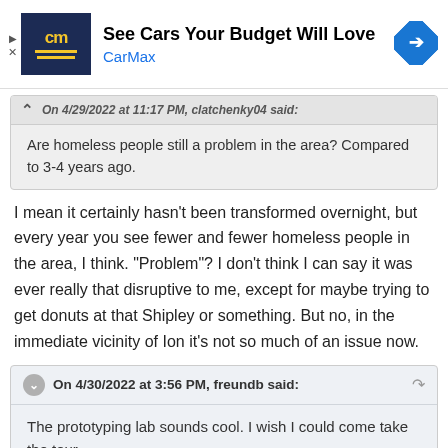[Figure (screenshot): CarMax advertisement banner with logo, headline 'See Cars Your Budget Will Love', brand name 'CarMax' in blue, and a blue navigation arrow icon]
On 4/29/2022 at 11:17 PM, clatchenky04 said:
Are homeless people still a problem in the area? Compared to 3-4 years ago.
I mean it certainly hasn't been transformed overnight, but every year you see fewer and fewer homeless people in the area, I think. "Problem"? I don't think I can say it was ever really that disruptive to me, except for maybe trying to get donuts at that Shipley or something. But no, in the immediate vicinity of Ion it's not so much of an issue now.
On 4/30/2022 at 3:56 PM, freundb said:
The prototyping lab sounds cool. I wish I could come take the tour.